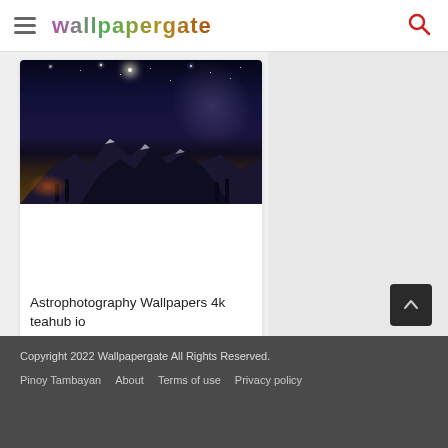wallpapergate
[Figure (photo): Astrophotography night sky with rocky mountain peaks, snow, and Milky Way galaxy visible overhead with orange light glow at bottom left]
Astrophotography Wallpapers 4k teahub io
18 views, 1 download
Copyright 2022 Wallpapergate All Rights Reserved.
Pinoy Tambayan   About   Terms of use   Privacy policy